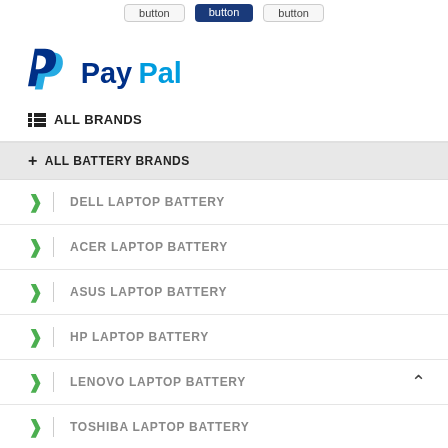[Figure (logo): PayPal logo with blue 'P' icon and PayPal text in navy and blue]
ALL BRANDS
+ ALL BATTERY BRANDS
DELL LAPTOP BATTERY
ACER LAPTOP BATTERY
ASUS LAPTOP BATTERY
HP LAPTOP BATTERY
LENOVO LAPTOP BATTERY
TOSHIBA LAPTOP BATTERY
+ ALL ADAPTER BRANDS